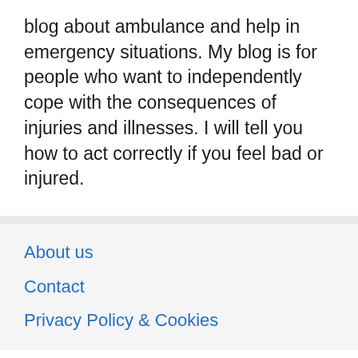blog about ambulance and help in emergency situations. My blog is for people who want to independently cope with the consequences of injuries and illnesses. I will tell you how to act correctly if you feel bad or injured.
About us
Contact
Privacy Policy & Cookies
ATTENTION TO RIGHT HOLDERS! All materials are posted on the site strictly for informational and educational purposes! If you believe that the posting of any material